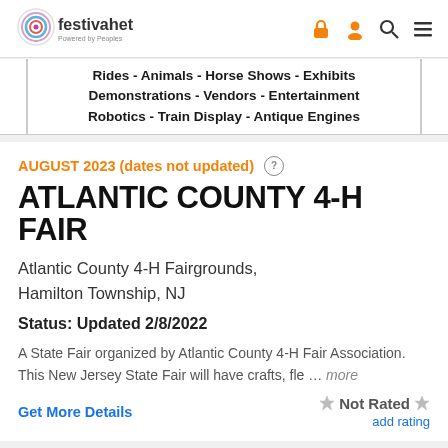[Figure (logo): FestivalNet logo with colored circular spiral and 'festivalnet. Powered by Peoples' text]
Rides - Animals - Horse Shows - Exhibits
Demonstrations - Vendors - Entertainment
Robotics - Train Display - Antique Engines
AUGUST 2023 (dates not updated) ?
ATLANTIC COUNTY 4-H FAIR
Atlantic County 4-H Fairgrounds,
Hamilton Township, NJ
Status: Updated 2/8/2022
A State Fair organized by Atlantic County 4-H Fair Association.
This New Jersey State Fair will have crafts, fle … more
Get More Details
Not Rated
add rating